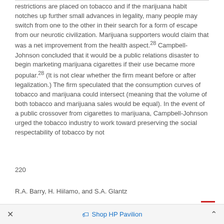restrictions are placed on tobacco and if the marijuana habit notches up further small advances in legality, many people may switch from one to the other in their search for a form of escape from our neurotic civilization. Marijuana supporters would claim that was a net improvement from the health aspect.28 Campbell-Johnson concluded that it would be a public relations disaster to begin marketing marijuana cigarettes if their use became more popular.28 (It is not clear whether the firm meant before or after legalization.) The firm speculated that the consumption curves of tobacco and marijuana could intersect (meaning that the volume of both tobacco and marijuana sales would be equal). In the event of a public crossover from cigarettes to marijuana, Campbell-Johnson urged the tobacco industry to work toward preserving the social respectability of tobacco by not
220
R.A. Barry, H. Hiilamo, and S.A. Glantz